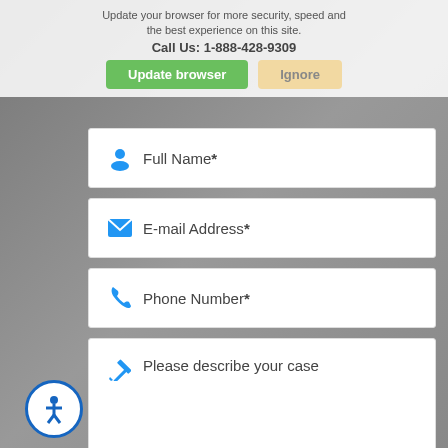Update your browser for more security, speed and the best experience on this site.
Call Us: 1-888-428-9309
[Figure (screenshot): Browser update banner with 'Update browser' (green) and 'Ignore' (beige) buttons]
Full Name*
E-mail Address*
Phone Number*
Please describe your case
GET YOUR FREE CASE EVALUATION
[Figure (logo): Accessibility icon — blue circle with white person symbol]